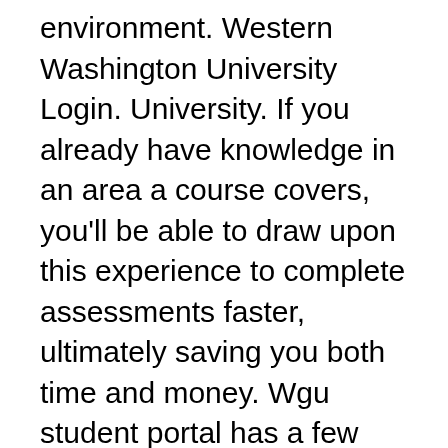environment. Western Washington University Login. University. If you already have knowledge in an area a course covers, you'll be able to draw upon this experience to complete assessments faster, ultimately saving you both time and money. Wgu student portal has a few advantages, as follows: Also check this – Florida Virtual School – Flvs FlexAdvertisement Business Administration. This means that on average students finish bachelor's degree programs in three years or less, and master's degree programs in 18 months or less. Send me more information about WGU and a $65